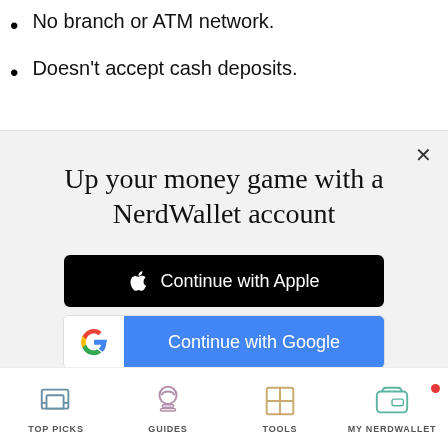No branch or ATM network.
Doesn't accept cash deposits.
Up your money game with a NerdWallet account
Continue with Apple
Continue with Google
or continue with email
By signing up, I agree to NerdWallet's Terms of Service and Privacy Policy.
TOP PICKS   GUIDES   TOOLS   MY NERDWALLET